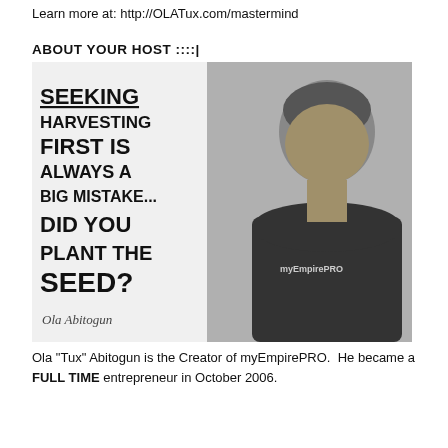Learn more at: http://OLATux.com/mastermind
ABOUT YOUR HOST  ::::|
[Figure (photo): Black and white promotional image combining a motivational quote on the left side reading 'SEEKING HARVESTING FIRST IS ALWAYS A BIG MISTAKE... DID YOU PLANT THE SEED?' with a signature 'Ola Abitogun', and a photo of a young Black man in a dark t-shirt with 'myEmpirePRO' text, looking downward.]
Ola "Tux" Abitogun is the Creator of myEmpirePRO.  He became a FULL TIME entrepreneur in October 2006.